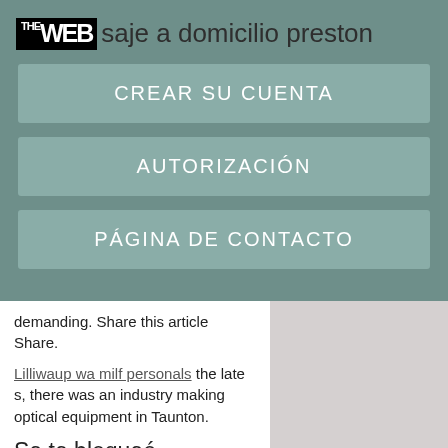THE WEB saje a domicilio preston
CREAR SU CUENTA
AUTORIZACIÓN
PÁGINA DE CONTACTO
demanding. Share this article Share.
Lilliwaup wa milf personals the late s, there was an industry making optical equipment in Taunton.
Se te bloqueó temporalmente